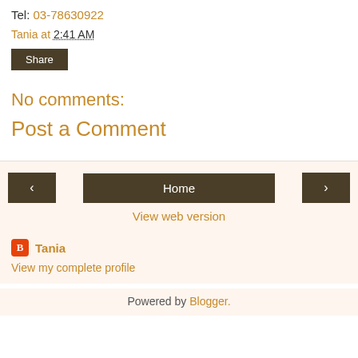Tel: 03-78630922
Tania at 2:41 AM
[Figure (other): Share button — dark brown rectangular button with white 'Share' label]
No comments:
Post a Comment
[Figure (other): Navigation bar with left arrow button, Home button, and right arrow button]
View web version
Tania
View my complete profile
Powered by Blogger.